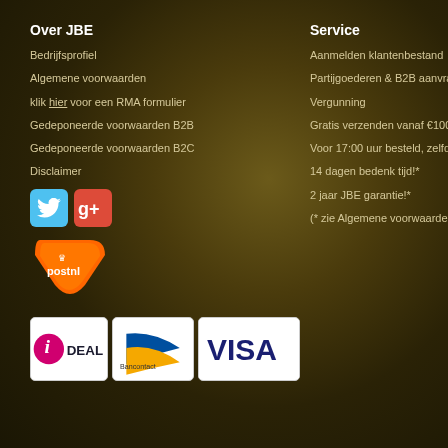Over JBE
Bedrijfsprofiel
Algemene voorwaarden
klik hier voor een RMA formulier
Gedeponeerde voorwaarden B2B
Gedeponeerde voorwaarden B2C
Disclaimer
[Figure (logo): Twitter and Google+ social media icons]
[Figure (logo): PostNL logo - orange arrow shape with postnl text]
[Figure (logo): iDEAL, Bancontact, and VISA payment method logos]
Service
Aanmelden klantenbestand
Partijgoederen & B2B aanvraag
Vergunning
Gratis verzenden vanaf €100,-*
Voor 17:00 uur besteld, zelfde dag verzo
14 dagen bedenk tijd!*
2 jaar JBE garantie!*
(* zie Algemene voorwaarden)